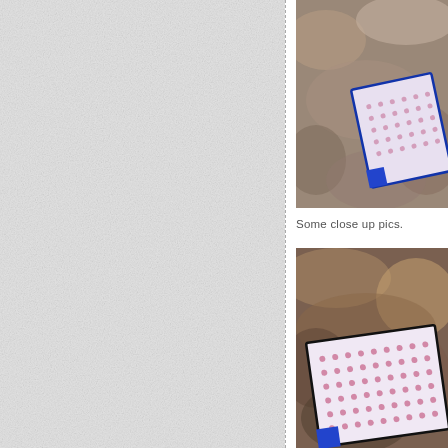[Figure (photo): Left half of page showing a textured/scanned white paper background with a dashed vertical divider line on the right edge]
[Figure (photo): Partial close-up photo of a polka-dot gift box or card with blue corner accent, photographed outdoors on rocky/mulch ground]
Some close up pics.
[Figure (photo): Close-up photo of a polka-dot box/card with black border and blue corner accent, photographed outdoors on rocky/mulch ground background]